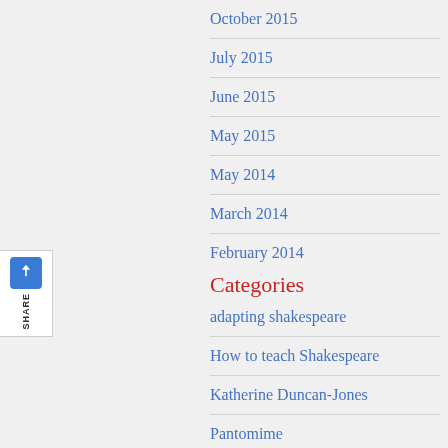October 2015
July 2015
June 2015
May 2015
May 2014
March 2014
February 2014
Categories
adapting shakespeare
How to teach Shakespeare
Katherine Duncan-Jones
Pantomime